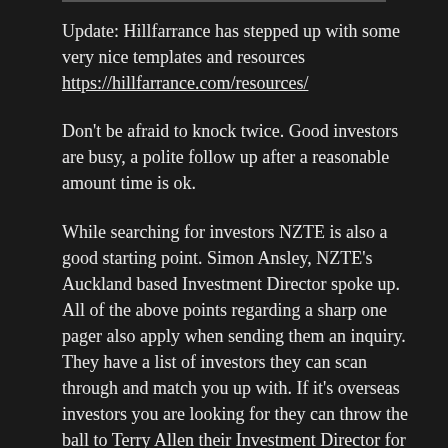Update: Hillfarrance has stepped up with some very nice templates and resources https://hillfarrance.com/resources/
Don't be afraid to knock twice. Good investors are busy, a polite follow up after a reasonable amount time is ok.
While searching for investors NZTE is also a good starting point. Simon Ansley, NZTE's Auckland based Investment Director spoke up. All of the above points regarding a sharp one pager also apply when sending them an inquiry. They have a list of investors they can scan through and match you up with. If it's overseas investors you are looking for they can throw the ball to Terry Allen their Investment Director for North America.